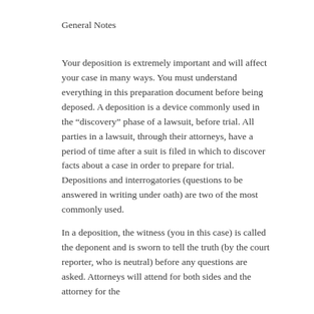General Notes
Your deposition is extremely important and will affect your case in many ways. You must understand everything in this preparation document before being deposed. A deposition is a device commonly used in the “discovery” phase of a lawsuit, before trial. All parties in a lawsuit, through their attorneys, have a period of time after a suit is filed in which to discover facts about a case in order to prepare for trial. Depositions and interrogatories (questions to be answered in writing under oath) are two of the most commonly used.
In a deposition, the witness (you in this case) is called the deponent and is sworn to tell the truth (by the court reporter, who is neutral) before any questions are asked. Attorneys will attend for both sides and the attorney for the